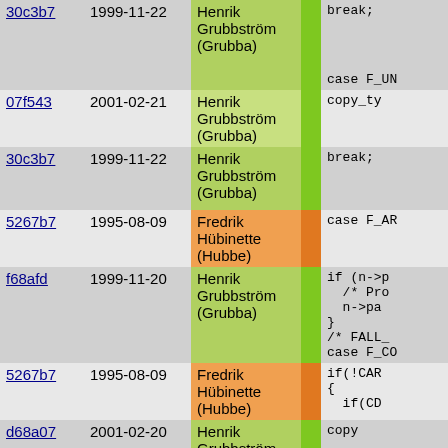| Commit | Date | Author |  | Code |
| --- | --- | --- | --- | --- |
| 30c3b7 | 1999-11-22 | Henrik Grubbström (Grubba) |  | break; |
| 07f543 | 2001-02-21 | Henrik Grubbström (Grubba) |  | copy_ty |
| 30c3b7 | 1999-11-22 | Henrik Grubbström (Grubba) |  | break; |
| 5267b7 | 1995-08-09 | Fredrik Hübinette (Hubbe) |  | case F_AR |
| f68afd | 1999-11-20 | Henrik Grubbström (Grubba) |  | if (n->p
  /* Pr
  n->pa
}
/* FALL_
case F_CO |
| 5267b7 | 1995-08-09 | Fredrik Hübinette (Hubbe) |  | if(!CAR
{
  if(CD |
| d68a07 | 2001-02-20 | Henrik Grubbström (Grubba) |  | copy |
| 5267b7 | 1995-08-09 | Fredrik Hübinette (Hubbe) |  | else |
| d68a07 | 2001-02-20 | Henrik Grubbström (Grubba) |  | copy |
| f68afd | 1999-11-20 | Henrik Grubbström (Grubba) |  | break, |
| 5267b7 | 1995-08-09 | Fredrik Hübinette (Hubbe) |  | } |